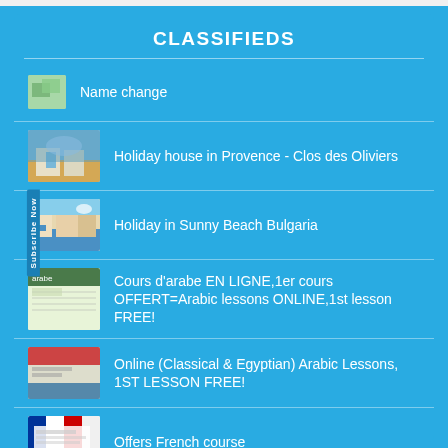CLASSIFIEDS
Name change
Holiday house in Provence - Clos des Oliviers
Holiday in Sunny Beach Bulgaria
Cours d'arabe EN LIGNE,1er cours OFFERT=Arabic lessons ONLINE,1st lesson FREE!
Online (Classical & Egyptian) Arabic Lessons, 1ST LESSON FREE!
Offers French course